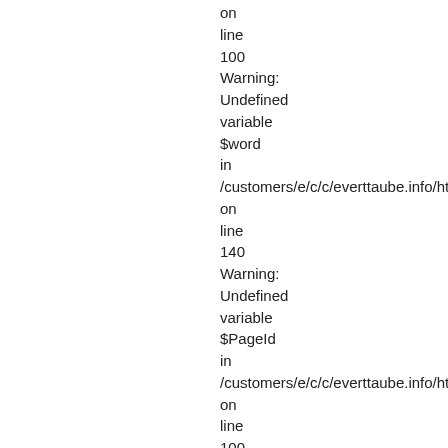on
line
100
Warning:
Undefined
variable
$word
in
/customers/e/c/c/everttaube.info/httpd.v
on
line
140
Warning:
Undefined
variable
$PageId
in
/customers/e/c/c/everttaube.info/httpd.v
on
line
100
Warning:
Undefined
variable
$word
in
/customers/e/c/c/everttaube.info/httpd.v
on
line
140